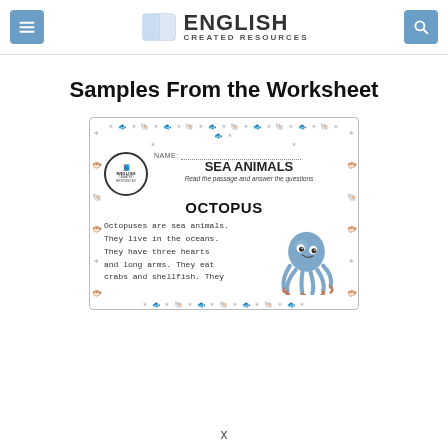ENGLISH CREATED RESOURCES
Samples From the Worksheet
[Figure (illustration): A worksheet preview showing a sea animals reading passage about octopuses, with a cartoon octopus illustration, decorative fish/shell border, a logo circle for English Created Resources, NAME line, SEA ANIMALS heading, subtitle 'Read the passage and answer the questions', OCTOPUS subheading, and partial reading text: 'Octopuses are sea animals. They live in the oceans. They have three hearts and long arms. They eat crabs and shellfish. They']
x